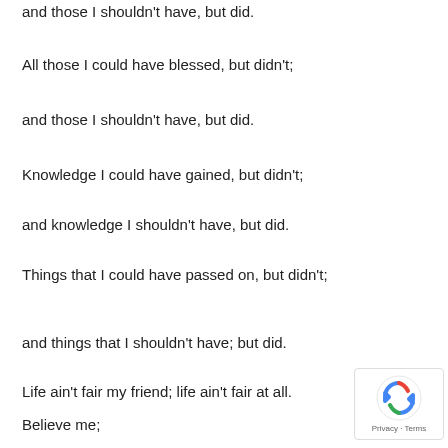and those I shouldn't have, but did.
All those I could have blessed, but didn't;
and those I shouldn't have, but did.
Knowledge I could have gained, but didn't;
and knowledge I shouldn't have, but did.
Things that I could have passed on, but didn't;
and things that I shouldn't have; but did.
Life ain't fair my friend; life ain't fair at all.
Believe me;
life ain't fair; life ain't fair at all.
Now..............................